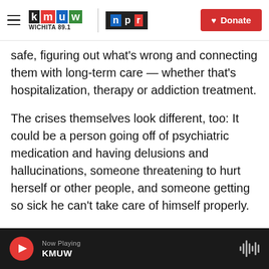KMUW Wichita 89.1 | NPR | Donate
safe, figuring out what's wrong and connecting them with long-term care — whether that's hospitalization, therapy or addiction treatment.
The crises themselves look different, too: It could be a person going off of psychiatric medication and having delusions and hallucinations, someone threatening to hurt herself or other people, and someone getting so sick he can't take care of himself properly.
The Guidance Center employs only a few people who specialize in crisis response. And it's easy for them to burn out, Rickard said, especially with the
Now Playing KMUW